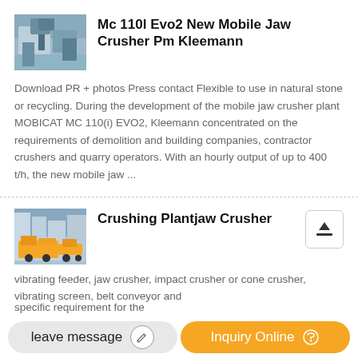[Figure (photo): Thumbnail image of a mobile jaw crusher machine on a construction/demolition site]
Mc 110l Evo2 New Mobile Jaw Crusher Pm Kleemann
Download PR + photos Press contact Flexible to use in natural stone or recycling. During the development of the mobile jaw crusher plant MOBICAT MC 110(i) EVO2, Kleemann concentrated on the requirements of demolition and building companies, contractor crushers and quarry operators. With an hourly output of up to 400 t/h, the new mobile jaw ...
[Figure (photo): Thumbnail image of yellow crushing plant / jaw crusher machinery]
Crushing Plantjaw Crusher
vibrating feeder, jaw crusher, impact crusher or cone crusher, vibrating screen, belt conveyor and
specific requirement for the
leave message
Inquiry Online